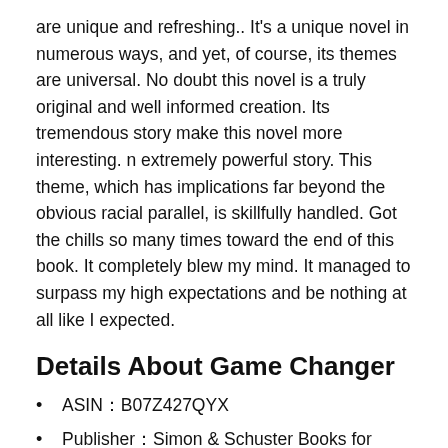are unique and refreshing.. It's a unique novel in numerous ways, and yet, of course, its themes are universal. No doubt this novel is a truly original and well informed creation. Its tremendous story make this novel more interesting. n extremely powerful story. This theme, which has implications far beyond the obvious racial parallel, is skillfully handled. Got the chills so many times toward the end of this book. It completely blew my mind. It managed to surpass my high expectations and be nothing at all like I expected.
Details About Game Changer
ASIN：B07Z427QYX
Publisher：Simon & Schuster Books for Young Readers (March 22, 2022)